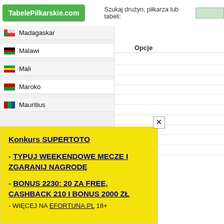TabelePilkarskie.com | Szukaj drużyn, piłkarza lub tabeli:
Madagaskar
Malawi
Mali
Maroko
Mauritius
Opcje
[Figure (screenshot): Popup advertisement for Konkurs SUPERTOTO on yellow background with close button. Text: Konkurs SUPERTOTO - TYPUJ WEEKENDOWE MECZE I ZGARANIJ NAGRODĘ - BONUS 2230: 20 ZA FREE, CASHBACK 210 I BONUS 2000 ZŁ - WIĘCEJ NA EFORTUNA.PL 18+]